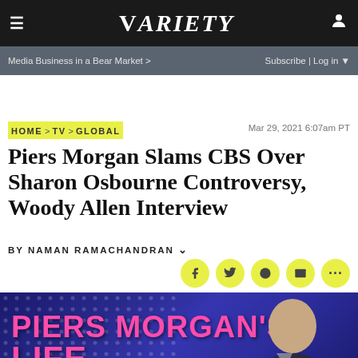VARIETY — Media Business in a Bear Market > | Subscribe | Log in
HOME > TV > GLOBAL   Mar 29, 2021 6:07am PT
Piers Morgan Slams CBS Over Sharon Osbourne Controversy, Woody Allen Interview
By Naman Ramachandran
[Figure (photo): Piers Morgan's Life Stories show title card with pink text reading 'PIERS MORGAN'S LIFE' on a blue/purple background, with a man in a suit visible on the right side]